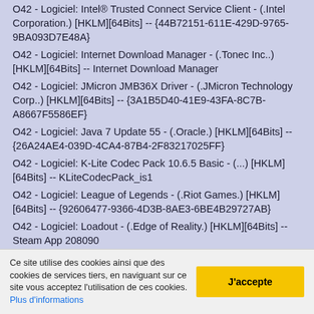O42 - Logiciel: Intel® Trusted Connect Service Client - (.Intel Corporation.) [HKLM][64Bits] -- {44B72151-611E-429D-9765-9BA093D7E48A}
O42 - Logiciel: Internet Download Manager - (.Tonec Inc..) [HKLM][64Bits] -- Internet Download Manager
O42 - Logiciel: JMicron JMB36X Driver - (.JMicron Technology Corp..) [HKLM][64Bits] -- {3A1B5D40-41E9-43FA-8C7B-A8667F5586EF}
O42 - Logiciel: Java 7 Update 55 - (.Oracle.) [HKLM][64Bits] -- {26A24AE4-039D-4CA4-87B4-2F83217025FF}
O42 - Logiciel: K-Lite Codec Pack 10.6.5 Basic - (...) [HKLM][64Bits] -- KLiteCodecPack_is1
O42 - Logiciel: League of Legends - (.Riot Games.) [HKLM][64Bits] -- {92606477-9366-4D3B-8AE3-6BE4B29727AB}
O42 - Logiciel: Loadout - (.Edge of Reality.) [HKLM][64Bits] -- Steam App 208090
O42 - Logiciel: Logitech SetPoint 6.60 - (.Logitech.) [HKLM][64Bits] -- sp6
O42 - Logiciel: MKVToolNix 6.3.0 - (.Moritz Bunkus.) [HKLM][64Bits] -- MKVToolNix
Ce site utilise des cookies ainsi que des cookies de services tiers, en naviguant sur ce site vous acceptez l'utilisation de ces cookies. Plus d'informations
J'accepte